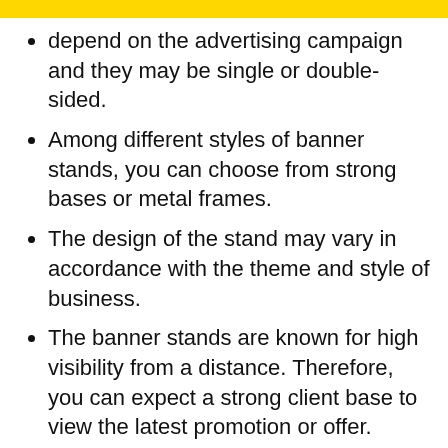depend on the advertising campaign and they may be single or double-sided.
Among different styles of banner stands, you can choose from strong bases or metal frames.
The design of the stand may vary in accordance with the theme and style of business.
The banner stands are known for high visibility from a distance. Therefore, you can expect a strong client base to view the latest promotion or offer.
If you want the banner stand to bring more customers to your business, you need to choose the right option, along with other promotional strategies, such as giveaways with purchase.
The outdoor banner stands are not only